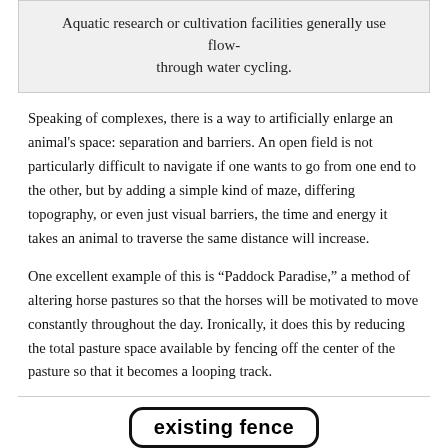Aquatic research or cultivation facilities generally use flow-through water cycling.
Speaking of complexes, there is a way to artificially enlarge an animal's space: separation and barriers. An open field is not particularly difficult to navigate if one wants to go from one end to the other, but by adding a simple kind of maze, differing topography, or even just visual barriers, the time and energy it takes an animal to traverse the same distance will increase.
One excellent example of this is “Paddock Paradise,” a method of altering horse pastures so that the horses will be motivated to move constantly throughout the day. Ironically, it does this by reducing the total pasture space available by fencing off the center of the pasture so that it becomes a looping track.
[Figure (flowchart): Diagram showing 'existing fence' label in a rounded rectangle box connected by a vertical line to a diagram below showing a fenced pasture layout with a horse silhouette, illustrating the Paddock Paradise concept.]